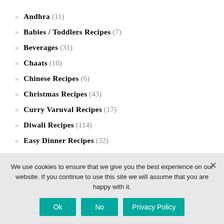Andhra (11)
Babies / Toddlers Recipes (7)
Beverages (31)
Chaats (10)
Chinese Recipes (6)
Christmas Recipes (43)
Curry Varuval Recipes (17)
Diwali Recipes (114)
Easy Dinner Recipes (32)
Easy Indian Sweet Recipes (95)
We use cookies to ensure that we give you the best experience on our website. If you continue to use this site we will assume that you are happy with it.